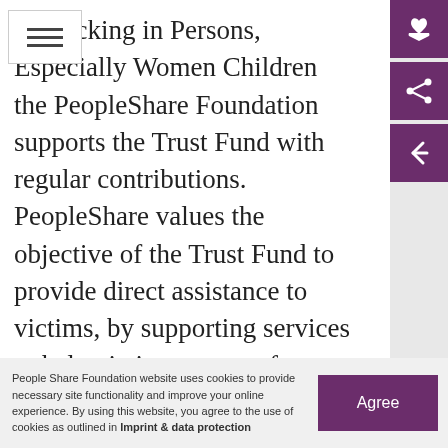Trafficking in Persons, Especially Women Children the PeopleShare Foundation supports the Trust Fund with regular contributions. PeopleShare values the objective of the Trust Fund to provide direct assistance to victims, by supporting services to help victims recover from the dehumanising crime that was committed against them, and give them the tools to rebuild their lives and to takes steps to recover their dignity and achieve their dreams.
People Share Foundation website uses cookies to provide necessary site functionality and improve your online experience. By using this website, you agree to the use of cookies as outlined in Imprint & data protection